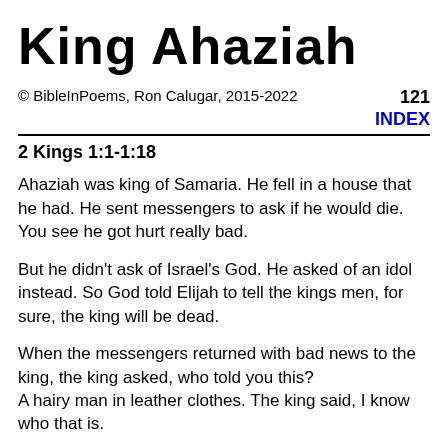King Ahaziah
© BibleInPoems, Ron Calugar, 2015-2022   121   INDEX
2 Kings 1:1-1:18
Ahaziah was king of Samaria. He fell in a house that he had. He sent messengers to ask if he would die. You see he got hurt really bad.
But he didn't ask of Israel's God. He asked of an idol instead. So God told Elijah to tell the kings men, for sure, the king will be dead.
When the messengers returned with bad news to the king, the king asked, who told you this?
A hairy man in leather clothes. The king said, I know who that is.
It's Elijah the Tishbite, the prophet of God. He's mad